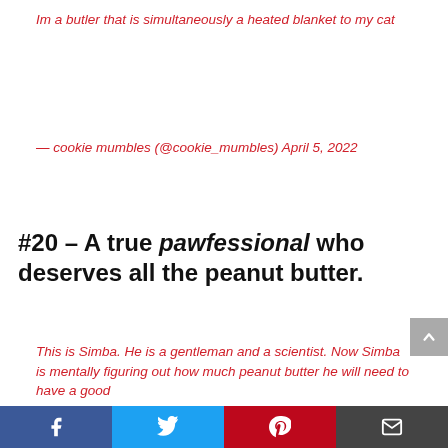Im a butler that is simultaneously a heated blanket to my cat
— cookie mumbles (@cookie_mumbles) April 5, 2022
#20 – A true pawfessional who deserves all the peanut butter.
This is Simba. He is a gentleman and a scientist. Now Simba is mentally figuring out how much peanut butter he will need to have a good day.#Corgi#Corgicrew#Dogs#Tuesdayvibes#doglife pic.twitter.com/zU260YYpUz
[Figure (other): Social share bar with Facebook, Twitter, Pinterest, and Email buttons]